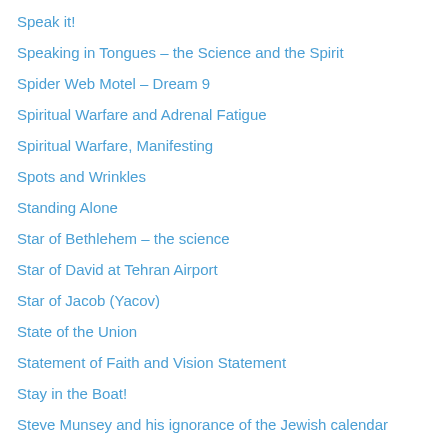Speak it!
Speaking in Tongues – the Science and the Spirit
Spider Web Motel – Dream 9
Spiritual Warfare and Adrenal Fatigue
Spiritual Warfare, Manifesting
Spots and Wrinkles
Standing Alone
Star of Bethlehem – the science
Star of David at Tehran Airport
Star of Jacob (Yacov)
State of the Union
Statement of Faith and Vision Statement
Stay in the Boat!
Steve Munsey and his ignorance of the Jewish calendar
Stone of Abel
Subway – Dream 7
Suffering and Power
Suffering Servant and the Messiah
Summary of Expected Asteroid Impact at Puerto Rico
Sun Goes down at Noon – Science?